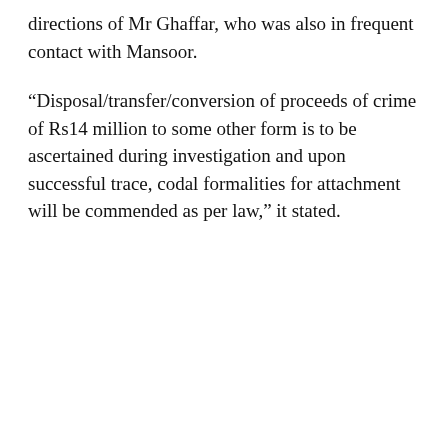directions of Mr Ghaffar, who was also in frequent contact with Mansoor.
“Disposal/transfer/conversion of proceeds of crime of Rs14 million to some other form is to be ascertained during investigation and upon successful trace, codal formalities for attachment will be commended as per law,” it stated.